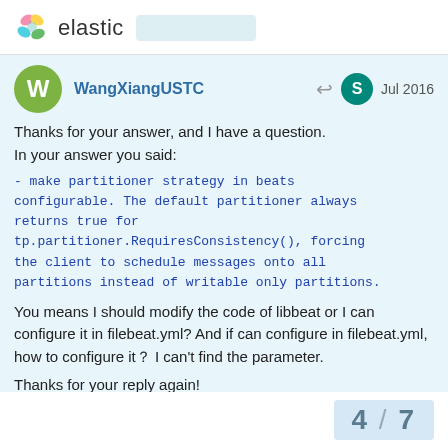elastic
WangXiangUSTC — Jul 2016
Thanks for your answer, and I have a question.
In your answer you said:
- make partitioner strategy in beats configurable. The default partitioner always returns true for tp.partitioner.RequiresConsistency(), forcing the client to schedule messages onto all partitions instead of writable only partitions.
You means I should modify the code of libbeat or I can configure it in filebeat.yml? And if can configure in filebeat.yml, how to configure it？ I can't find the parameter.
Thanks for your reply again!
4 / 7